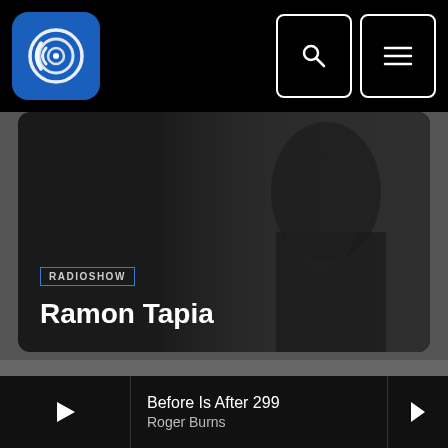ElectroRadio.FM navigation bar with logo and search/menu icons
Ramon Tapia
RADIOSHOW
COPYRIGHT 2007-2022 | ELECTRORADIO.FM
ABOUT US
ONLINE SHOP
PRIVACY POLICY
CONTACT US
[Figure (other): Social media icons: Twitter, Beatport, SoundCloud, Instagram, Facebook]
Before Is After 299
Roger Burns